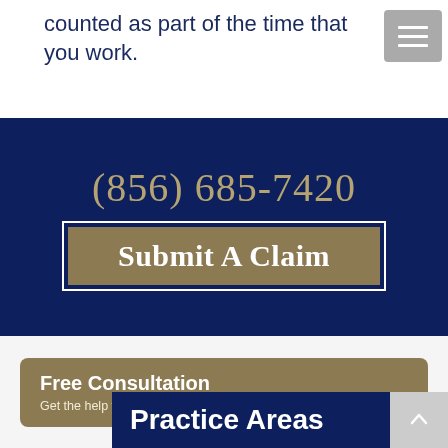counted as part of the time that you work.
(856) 685-7420
Submit A Claim
Free Consultation
Get the help you need today!  Confidential. No Obligation.
Practice Areas